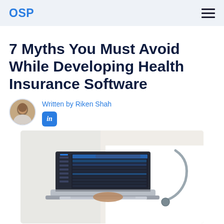OSP
7 Myths You Must Avoid While Developing Health Insurance Software
Written by Riken Shah
[Figure (photo): A doctor in a white coat with a stethoscope pointing at a laptop screen showing health insurance software dashboard]